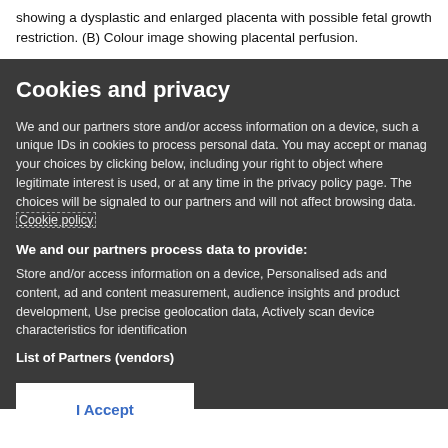showing a dysplastic and enlarged placenta with possible fetal growth restriction. (B) Colour image showing placental perfusion.
Cookies and privacy
We and our partners store and/or access information on a device, such as unique IDs in cookies to process personal data. You may accept or manage your choices by clicking below, including your right to object where legitimate interest is used, or at any time in the privacy policy page. These choices will be signaled to our partners and will not affect browsing data. Cookie policy
We and our partners process data to provide:
Store and/or access information on a device, Personalised ads and content, ad and content measurement, audience insights and product development, Use precise geolocation data, Actively scan device characteristics for identification
List of Partners (vendors)
I Accept